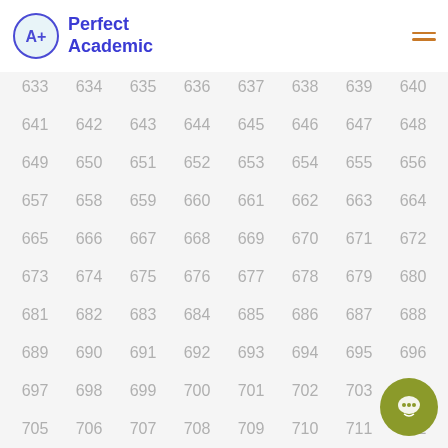Perfect Academic
| 633 | 634 | 635 | 636 | 637 | 638 | 639 | 640 |
| 641 | 642 | 643 | 644 | 645 | 646 | 647 | 648 |
| 649 | 650 | 651 | 652 | 653 | 654 | 655 | 656 |
| 657 | 658 | 659 | 660 | 661 | 662 | 663 | 664 |
| 665 | 666 | 667 | 668 | 669 | 670 | 671 | 672 |
| 673 | 674 | 675 | 676 | 677 | 678 | 679 | 680 |
| 681 | 682 | 683 | 684 | 685 | 686 | 687 | 688 |
| 689 | 690 | 691 | 692 | 693 | 694 | 695 | 696 |
| 697 | 698 | 699 | 700 | 701 | 702 | 703 | 704 |
| 705 | 706 | 707 | 708 | 709 | 710 | 711 | 712 |
| 713 | 714 | 715 | 716 | 717 | 718 | 719 | 720 |
| 721 | 722 | 723 | 724 | 725 | 726 | 727 | 728 |